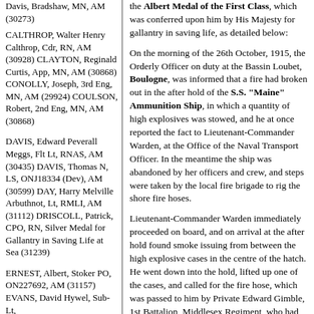Davis, Bradshaw, MN, AM (30273)
CALTHROP, Walter Henry Calthrop, Cdr, RN, AM (30928)
CLAYTON, Reginald Curtis, App, MN, AM (30868)
CONOLLY, Joseph, 3rd Eng, MN, AM (29924)
COULSON, Robert, 2nd Eng, MN, AM (30868)
DAVIS, Edward Peverall Meggs, Flt Lt, RNAS, AM (30435)
DAVIS, Thomas N, LS, ONJ18334 (Dev), AM (30599)
DAY, Harry Melville Arbuthnot, Lt, RMLI, AM (31112)
DRISCOLL, Patrick, CPO, RN, Silver Medal for Gallantry in Saving Life at Sea (31239)
ERNEST, Albert, Stoker PO, ON227692, AM (31157)
EVANS, David Hywel, Sub-Lt,
the Albert Medal of the First Class, which was conferred upon him by His Majesty for gallantry in saving life, as detailed below:
On the morning of the 26th October, 1915, the Orderly Officer on duty at the Bassin Loubet, Boulogne, was informed that a fire had broken out in the after hold of the S.S. "Maine" Ammunition Ship, in which a quantity of high explosives was stowed, and he at once reported the fact to Lieutenant-Commander Warden, at the Office of the Naval Transport Officer. In the meantime the ship was abandoned by her officers and crew, and steps were taken by the local fire brigade to rig the shore fire hoses.
Lieutenant-Commander Warden immediately proceeded on board, and on arrival at the after hold found smoke issuing from between the high explosive cases in the centre of the hatch. He went down into the hold, lifted up one of the cases, and called for the fire hose, which was passed to him by Private Edward Gimble, 1st Battalion, Middlesex Regiment, who had followed him on